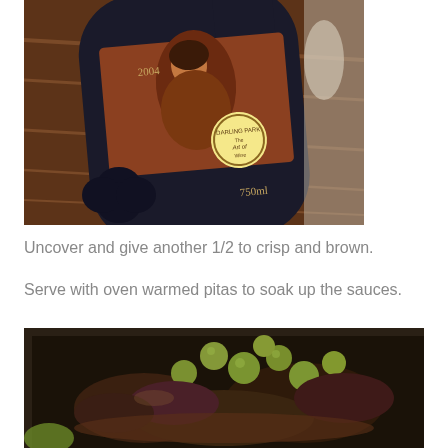[Figure (photo): A wine bottle labeled 'Darling Park, The Art of Wine, 2004, 750ml' lying on a wooden surface]
Uncover and give another 1/2 to crisp and brown.
Serve with oven warmed pitas to soak up the sauces.
[Figure (photo): A roasting pan containing cooked meat and green olives in sauce]